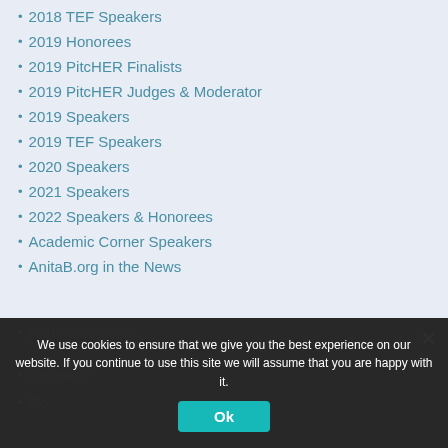2018 TEF Speakers
2019 Honorees
2019 PitcHER Finalists
2019 PitcHER Judges & Moderator
2019 Speakers
2019 TEF Speakers
2020 Speakers
2021 Speakers
2022 Speakers & Honorees
Academic Corner Speakers
AnitaB.org in the News
Announcements
Calendar
Co...
We use cookies to ensure that we give you the best experience on our website. If you continue to use this site we will assume that you are happy with it.